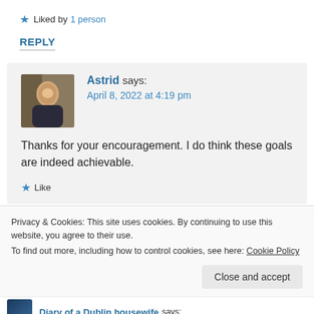★ Liked by 1 person
REPLY
Astrid says: April 8, 2022 at 4:19 pm
Thanks for your encouragement. I do think these goals are indeed achievable.
★ Like
Privacy & Cookies: This site uses cookies. By continuing to use this website, you agree to their use. To find out more, including how to control cookies, see here: Cookie Policy
Close and accept
Diary of a Dublin housewife says: